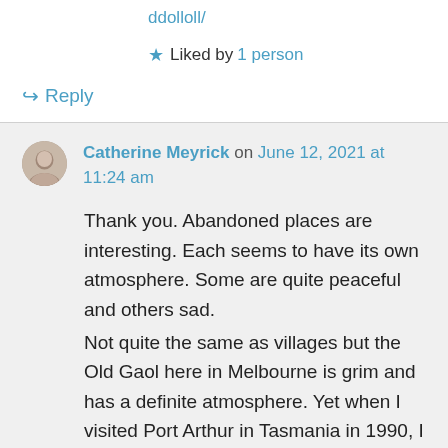ddolloll/
★ Liked by 1 person
↪ Reply
Catherine Meyrick on June 12, 2021 at 11:24 am
Thank you. Abandoned places are interesting. Each seems to have its own atmosphere. Some are quite peaceful and others sad.
Not quite the same as villages but the Old Gaol here in Melbourne is grim and has a definite atmosphere. Yet when I visited Port Arthur in Tasmania in 1990, I thought it peaceful despite the history. I don't know